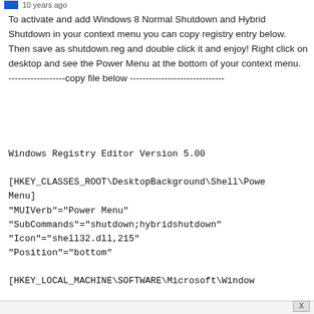10 years ago
To activate and add Windows 8 Normal Shutdown and Hybrid Shutdown in your context menu you can copy registry entry below. Then save as shutdown.reg and double click it and enjoy! Right click on desktop and see the Power Menu at the bottom of your context menu.
------------------copy file below ------------------------------
Windows Registry Editor Version 5.00

[HKEY_CLASSES_ROOT\DesktopBackground\Shell\Power Menu]
"MUIVerb"="Power Menu"
"SubCommands"="shutdown;hybridshutdown"
"Icon"="shell32.dll,215"
"Position"="bottom"

[HKEY_LOCAL_MACHINE\SOFTWARE\Microsoft\Window

\shell\shutdown]